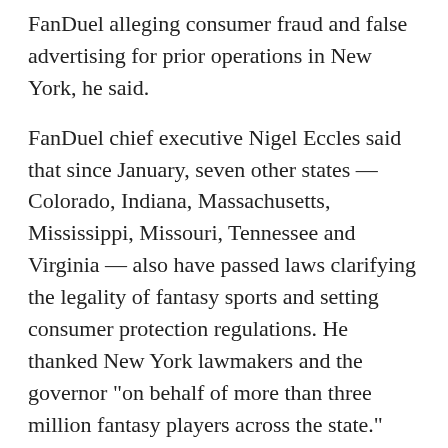FanDuel alleging consumer fraud and false advertising for prior operations in New York, he said.
FanDuel chief executive Nigel Eccles said that since January, seven other states — Colorado, Indiana, Massachusetts, Mississippi, Missouri, Tennessee and Virginia — also have passed laws clarifying the legality of fantasy sports and setting consumer protection regulations. He thanked New York lawmakers and the governor "on behalf of more than three million fantasy players across the state."
Jason Robins, chief executive of DraftKings, said they're excited to have their contests returning to New York and want to thank their "hundreds of thousands of New York supporters for their passion and loyalty over the past several months."